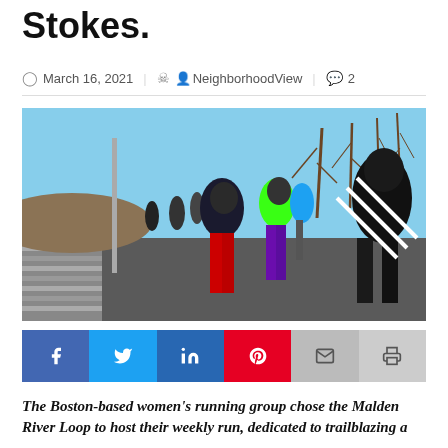Stokes.
March 16, 2021   NeighborhoodView   2
[Figure (photo): Group of runners on a path in cold weather, wearing colorful winter running gear including red pants, neon green vest, purple leggings; bare trees in background, clear sky.]
Social sharing buttons: Facebook, Twitter, LinkedIn, Pinterest, Email, Print
The Boston-based women's running group chose the Malden River Loop to host their weekly run, dedicated to trailblazing a